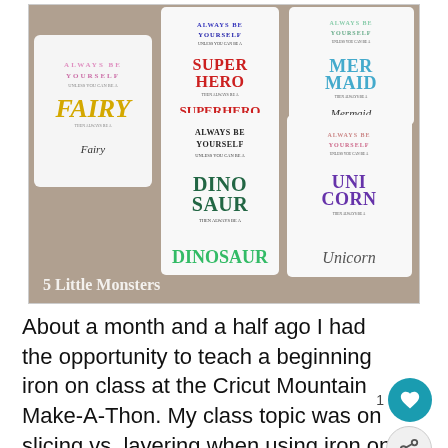[Figure (photo): Photo of five white folded t-shirts on a brown/tan surface, each printed with 'Always be yourself unless you can be a [Fairy/Superhero/Mermaid/Dinosaur/Unicorn] then always be a [Fairy/Superhero/Mermaid/Dinosaur/Unicorn]' in colorful lettering. Watermark reads '5 Little Monsters' in cursive.]
About a month and a half ago I had the opportunity to teach a beginning iron on class at the Cricut Mountain Make-A-Thon. My class topic was on slicing vs. layering when using iron on, and we also talked a bit about knockout designs.